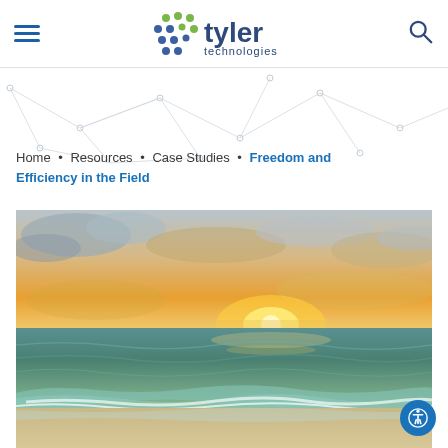Tyler Technologies - navigation header with hamburger menu, logo, and search icon
Home • Resources • Case Studies • Freedom and Efficiency in the Field
[Figure (photo): Sunset beach scene with ocean waves, golden sun on horizon, dramatic clouds in sky, turquoise water in foreground with white foam on sandy beach]